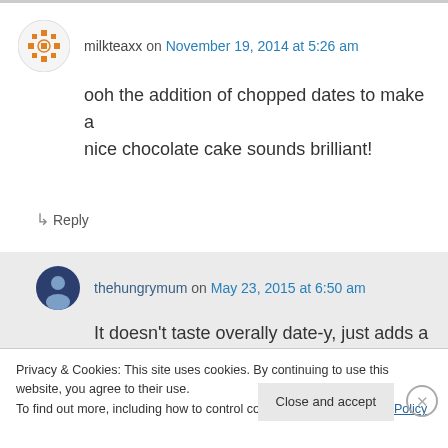milkteaxx on November 19, 2014 at 5:26 am
ooh the addition of chopped dates to make a nice chocolate cake sounds brilliant!
↳ Reply
thehungrymum on May 23, 2015 at 6:50 am
It doesn't taste overally date-y, just adds a
Privacy & Cookies: This site uses cookies. By continuing to use this website, you agree to their use. To find out more, including how to control cookies, see here: Cookie Policy
Close and accept